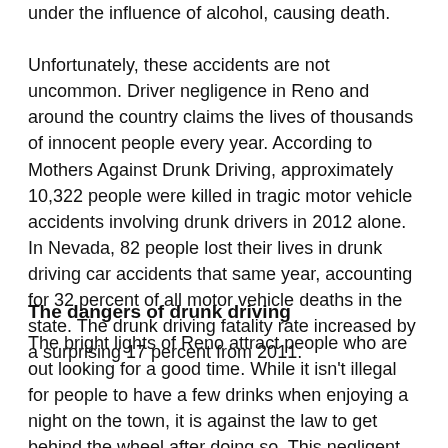under the influence of alcohol, causing death. Unfortunately, these accidents are not uncommon. Driver negligence in Reno and around the country claims the lives of thousands of innocent people every year. According to Mothers Against Drunk Driving, approximately 10,322 people were killed in tragic motor vehicle accidents involving drunk drivers in 2012 alone. In Nevada, 82 people lost their lives in drunk driving car accidents that same year, accounting for 32 percent of all motor vehicle deaths in the state. The drunk driving fatality rate increased by a surprising 17 percent from 2011.
The dangers of drunk driving
The bright lights of Reno attract people who are out looking for a good time. While it isn't illegal for people to have a few drinks when enjoying a night on the town, it is against the law to get behind the wheel after doing so. This negligent behavior endangers the lives of everyone else on the road. According to MADD,